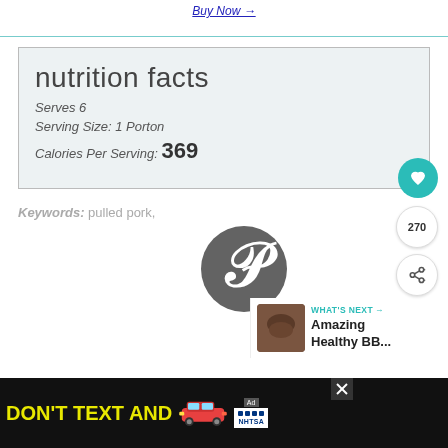Buy Now →
nutrition facts
Serves 6
Serving Size: 1 Porton
Calories Per Serving: 369
Keywords: pulled pork,
[Figure (logo): Pinterest logo - circular grey P icon]
WHAT'S NEXT → Amazing Healthy BB...
[Figure (screenshot): Advertisement banner: DON'T TEXT AND [car emoji] with NHTSA ad badge and close button]